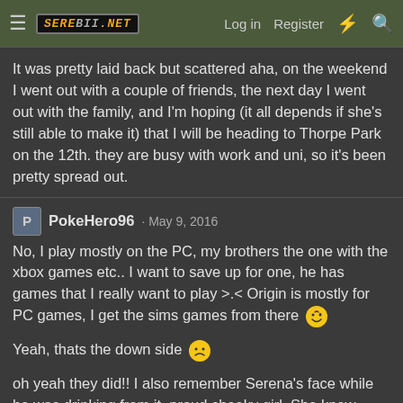Serebii.net — Log in  Register
It was pretty laid back but scattered aha, on the weekend I went out with a couple of friends, the next day I went out with the family, and I'm hoping (it all depends if she's still able to make it) that I will be heading to Thorpe Park on the 12th. they are busy with work and uni, so it's been pretty spread out.
PokeHero96 · May 9, 2016
No, I play mostly on the PC, my brothers the one with the xbox games etc.. I want to save up for one, he has games that I really want to play >.< Origin is mostly for PC games, I get the sims games from there 😛
Yeah, thats the down side ☹
oh yeah they did!! I also remember Serena's face while he was drinking from it. proud cheeky girl. She knew what she was doing!.. yeah it can't be healthy fainting so many times :s I